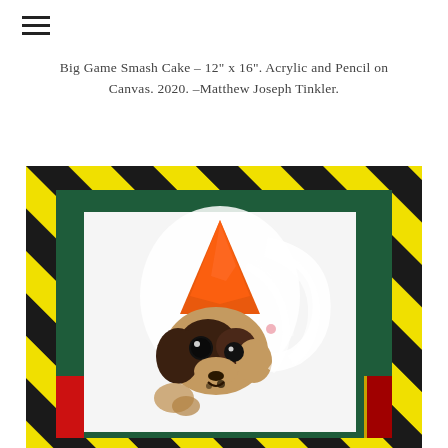Big Game Smash Cake – 12" x 16". Acrylic and Pencil on Canvas. 2020. –Matthew Joseph Tinkler.
[Figure (photo): A painting titled 'Big Game Smash Cake' showing a dog wearing an orange party hat, painted in acrylic and pencil on canvas, framed within a dark green border surrounded by a yellow and black diagonal hazard-stripe border, with red rectangular shapes in the lower left and right corners.]